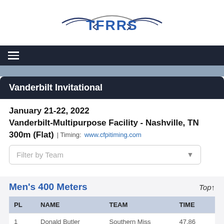[Figure (logo): TFRRS logo with wings and text]
Vanderbilt Invitational
January 21-22, 2022
Vanderbilt-Multipurpose Facility - Nashville, TN
300m (Flat) | Timing: www.cfpitiming.com
Men's 400 Meters
| PL | NAME | TEAM | TIME |
| --- | --- | --- | --- |
| 1 | Donald Butler | Southern Miss | 47.86 |